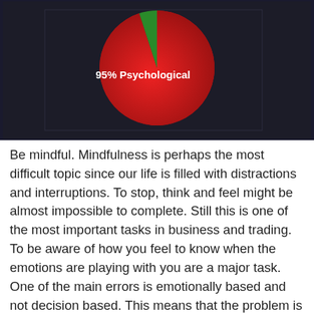[Figure (pie-chart): 95% Psychological]
Be mindful. Mindfulness is perhaps the most difficult topic since our life is filled with distractions and interruptions. To stop, think and feel might be almost impossible to complete. Still this is one of the most important tasks in business and trading. To be aware of how you feel to know when the emotions are playing with you are a major task. One of the main errors is emotionally based and not decision based. This means that the problem is not a result of you thinking, but rather a result of